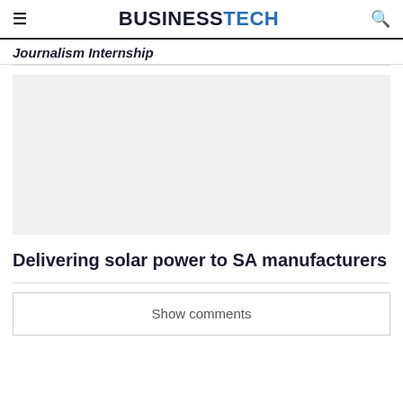≡ BUSINESSTECH 🔍
Journalism Internship
[Figure (other): Gray placeholder advertisement box]
Delivering solar power to SA manufacturers
Show comments